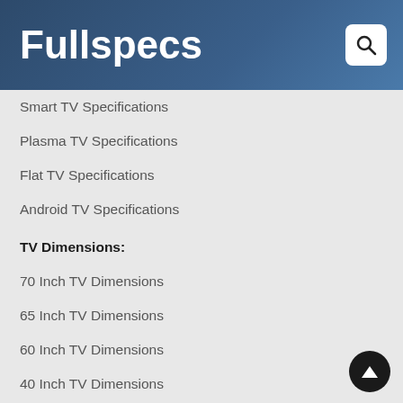Fullspecs
Smart TV Specifications
Plasma TV Specifications
Flat TV Specifications
Android TV Specifications
TV Dimensions:
70 Inch TV Dimensions
65 Inch TV Dimensions
60 Inch TV Dimensions
40 Inch TV Dimensions
32 Inch TV Dimensions
85 Inch TV Dimensions
120 Inch TV Dimensions
83 Inch TV Dimensions
42.5 Inch TV Dimensions